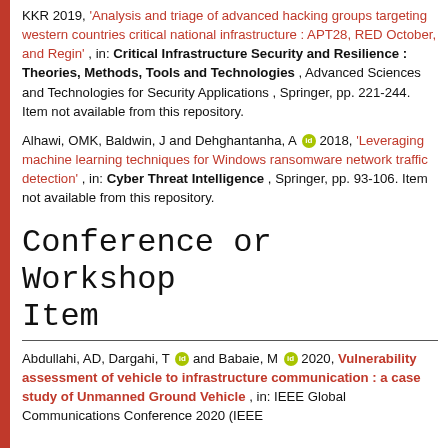KKR 2019, 'Analysis and triage of advanced hacking groups targeting western countries critical national infrastructure : APT28, RED October, and Regin' , in: Critical Infrastructure Security and Resilience : Theories, Methods, Tools and Technologies , Advanced Sciences and Technologies for Security Applications , Springer, pp. 221-244. Item not available from this repository.
Alhawi, OMK, Baldwin, J and Dehghantanha, A [orcid] 2018, 'Leveraging machine learning techniques for Windows ransomware network traffic detection' , in: Cyber Threat Intelligence , Springer, pp. 93-106. Item not available from this repository.
Conference or Workshop Item
Abdullahi, AD, Dargahi, T [orcid] and Babaie, M [orcid] 2020, Vulnerability assessment of vehicle to infrastructure communication : a case study of Unmanned Ground Vehicle , in: IEEE Global Communications Conference 2020 (IEEE